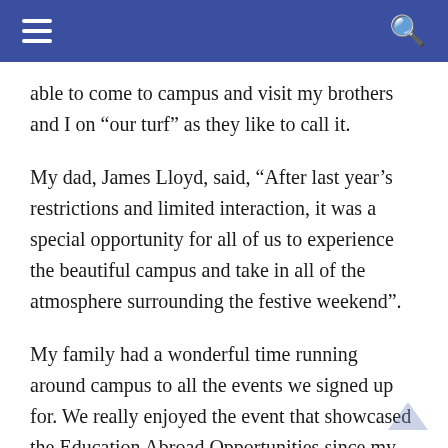able to come to campus and visit my brothers and I on “our turf” as they like to call it.
My dad, James Lloyd, said, “After last year’s restrictions and limited interaction, it was a special opportunity for all of us to experience the beautiful campus and take in all of the atmosphere surrounding the festive weekend”.
My family had a wonderful time running around campus to all the events we signed up for. We really enjoyed the event that showcased the Education Abroad Opportunities since my brothers and I all want to go abroad. The event gave our parents an